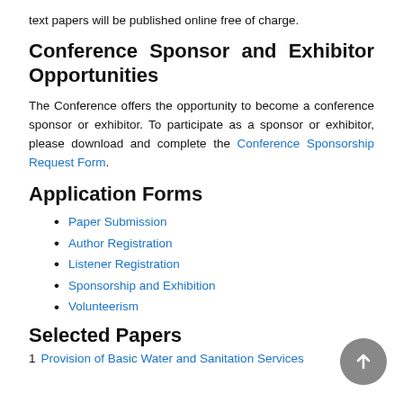text papers will be published online free of charge.
Conference Sponsor and Exhibitor Opportunities
The Conference offers the opportunity to become a conference sponsor or exhibitor. To participate as a sponsor or exhibitor, please download and complete the Conference Sponsorship Request Form.
Application Forms
Paper Submission
Author Registration
Listener Registration
Sponsorship and Exhibition
Volunteerism
Selected Papers
Provision of Basic Water and Sanitation Services